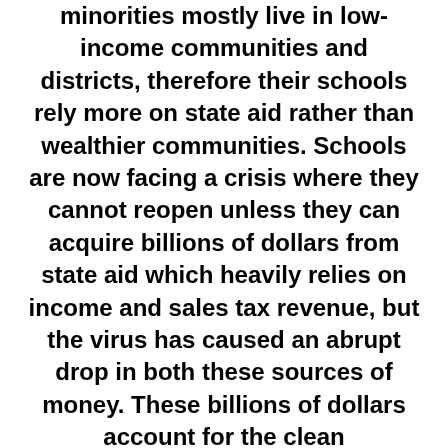minorities mostly live in low-income communities and districts, therefore their schools rely more on state aid rather than wealthier communities. Schools are now facing a crisis where they cannot reopen unless they can acquire billions of dollars from state aid which heavily relies on income and sales tax revenue, but the virus has caused an abrupt drop in both these sources of money. These billions of dollars account for the clean environment where students aren't exposed to the virus or other illnesses when they walk into the school buildings. Resources such as clean bathrooms, proper ventilation, hand sanitizers, hand soap, and other hygienic necessities need to be provided